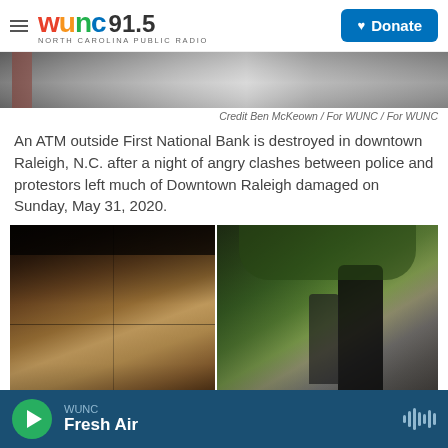WUNC 91.5 NORTH CAROLINA PUBLIC RADIO | Donate
[Figure (photo): Partial photo of destroyed ATM or storefront, top portion visible]
Credit Ben McKeown / For WUNC / For WUNC
An ATM outside First National Bank is destroyed in downtown Raleigh, N.C. after a night of angry clashes between police and protestors left much of Downtown Raleigh damaged on Sunday, May 31, 2020.
[Figure (photo): Two-panel photo: left panel shows graffiti-covered plywood; right panel shows people including a man in a black shirt with mask helping clean up damage on a downtown street]
WUNC Fresh Air